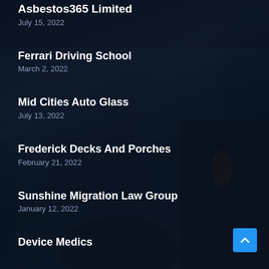Asbestos365 Limited
July 15, 2022
Ferrari Driving School
March 2, 2022
Mid Cities Auto Glass
July 13, 2022
Frederick Decks And Porches
February 21, 2022
Sunshine Migration Law Group
January 12, 2022
Device Medics